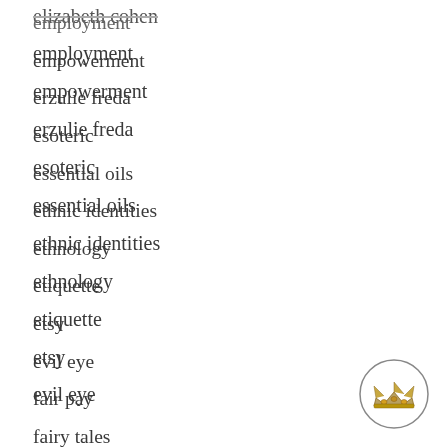employment
empowerment
erzulie freda
esoteric
essential oils
ethnic identities
ethnology
etiquette
etsy
evil eye
fair pay
fairy tales
faith healing
family mythology
[Figure (illustration): A small circular emblem containing a crown illustration, positioned in the bottom-right corner of the page.]